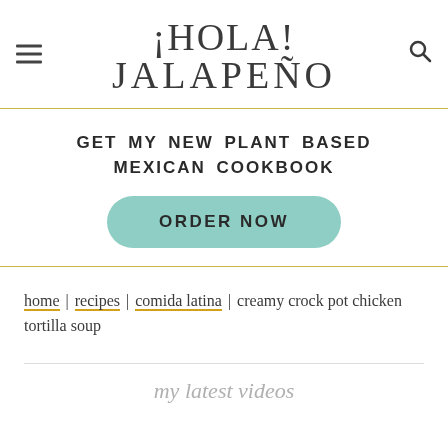¡HOLA! JALAPEÑO
GET MY NEW PLANT BASED MEXICAN COOKBOOK
ORDER NOW
home | recipes | comida latina | creamy crock pot chicken tortilla soup
my latest videos